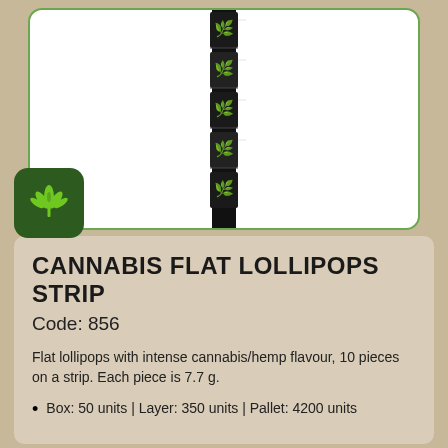[Figure (photo): Cannabis flat lollipops strip product image — a vertical strip of individually wrapped flat lollipops with black packaging featuring green cannabis leaf design, shown inside a white rounded-rectangle card with green border. A dark green square logo badge with cannabis leaf icon overlaps the bottom-left corner.]
CANNABIS FLAT LOLLIPOPS STRIP
Code: 856
Flat lollipops with intense cannabis/hemp flavour, 10 pieces on a strip. Each piece is 7.7 g.
Box: 50 units | Layer: 350 units | Pallet: 4200 units